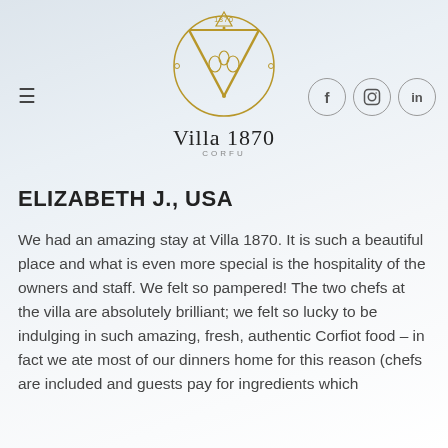[Figure (logo): Villa 1870 Corfu circular golden logo with stylized V and decorative elements, with text 'Villa 1870' and 'CORFU' below]
≡
f  [Instagram icon]  in
ELIZABETH J., USA
We had an amazing stay at Villa 1870. It is such a beautiful place and what is even more special is the hospitality of the owners and staff. We felt so pampered! The two chefs at the villa are absolutely brilliant; we felt so lucky to be indulging in such amazing, fresh, authentic Corfiot food – in fact we ate most of our dinners home for this reason (chefs are included and guests pay for ingredients which